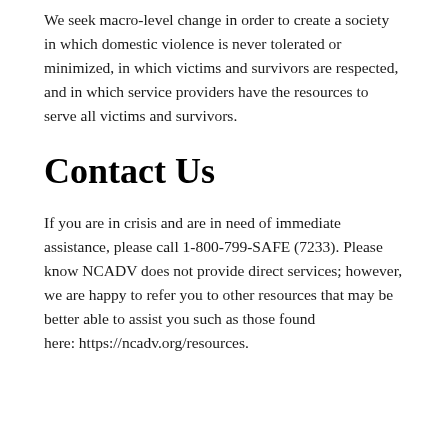We seek macro-level change in order to create a society in which domestic violence is never tolerated or minimized, in which victims and survivors are respected, and in which service providers have the resources to serve all victims and survivors.
Contact Us
If you are in crisis and are in need of immediate assistance, please call 1-800-799-SAFE (7233). Please know NCADV does not provide direct services; however, we are happy to refer you to other resources that may be better able to assist you such as those found here: https://ncadv.org/resources.